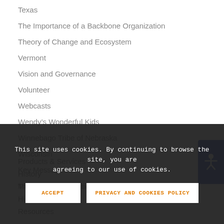Texas
The Importance of a Backbone Organization
Theory of Change and Ecosystem
Vermont
Vision and Governance
Volunteer
Webcasts
Wendy's Wonderful Kids
Winnebago Tribe of Nebraska
Wisconsin
Key Messages
Mission & Vision
Products & Services
History
Training & Certification
History
Resources
[Figure (other): Accessibility icon button - blue rounded rectangle with person/accessibility symbol in white]
This site uses cookies. By continuing to browse the site, you are agreeing to our use of cookies.
ACCEPT   PRIVACY AND COOKIES POLICY